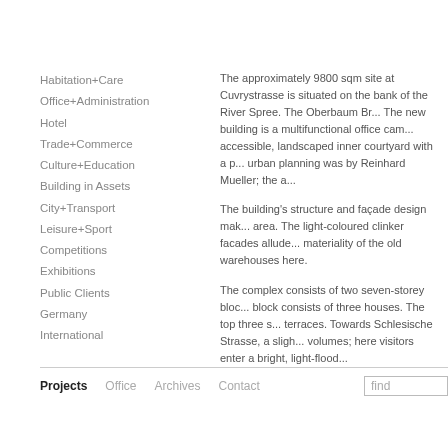Habitation+Care
Office+Administration
Hotel
Trade+Commerce
Culture+Education
Building in Assets
City+Transport
Leisure+Sport
Competitions
Exhibitions
Public Clients
Germany
International
The approximately 9800 sqm site at Cuvrystrasse is situated on the bank of the River Spree. The Oberbaum Br... The new building is a multifunctional office cam... accessible, landscaped inner courtyard with a p... urban planning was by Reinhard Mueller; the a...
The building's structure and façade design mak... area. The light-coloured clinker facades allude... materiality of the old warehouses here.
The complex consists of two seven-storey bloc... block consists of three houses. The top three s... terraces. Towards Schlesische Strasse, a sligh... volumes; here visitors enter a bright, light-flood...
Projects   Office   Archives   Contact   find